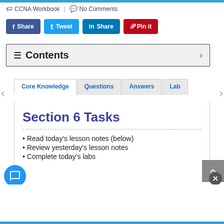CCNA Workbook | No Comments
[Figure (other): Social share buttons: Facebook Share, Twitter Tweet, LinkedIn Share, Pinterest Pin it]
Contents
Core Knowledge | Questions | Answers | Lab (tabs)
Section 6 Tasks
Read today's lesson notes (below)
Review yesterday's lesson notes
Complete today's labs